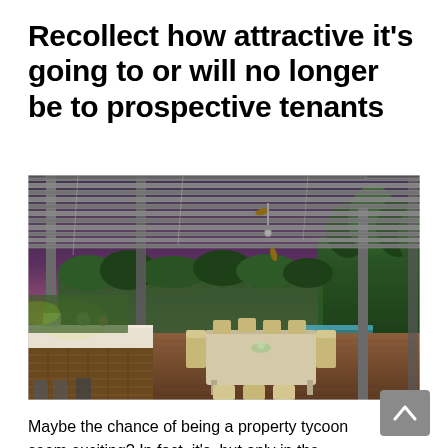Recollect how attractive it's going to or will no longer be to prospective tenants
[Figure (photo): Outdoor luxury rooftop terrace at dusk with a pergola/louvered roof, ceiling fan, dining table with chairs, a bar counter on the left, wooden deck flooring, green hedges in the background, a swimming pool visible in the middle distance, and a city skyline illuminated at night in the far background.]
Maybe the chance of being a property tycoon seem exciting? In fact, it's, but only in the event that you've laid